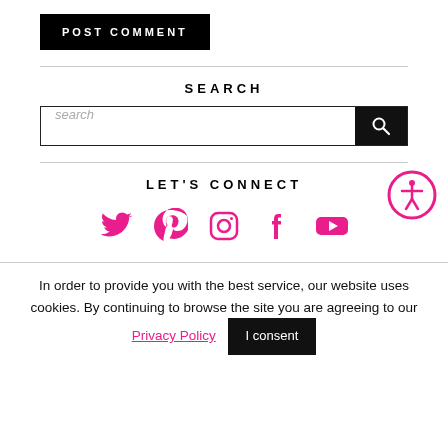POST COMMENT
SEARCH
search
LET'S CONNECT
[Figure (illustration): Social media icons: Twitter, Pinterest, Instagram, Facebook, YouTube in pink/magenta color]
[Figure (logo): Accessibility icon - person in circle with pink border]
In order to provide you with the best service, our website uses cookies. By continuing to browse the site you are agreeing to our Privacy Policy  I consent